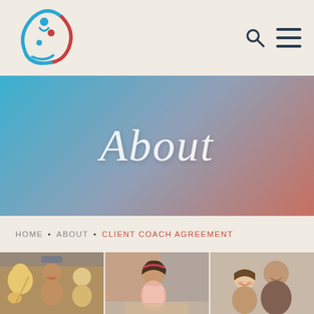[Figure (logo): Circular logo with stylized family figures in blue and red arcs forming a circular shape]
[Figure (other): Search icon (magnifying glass) and hamburger menu icon in dark navy color]
[Figure (illustration): Blue to red/orange gradient banner with cursive italic 'About' text in white]
HOME • ABOUT • CLIENT COACH AGREEMENT
[Figure (photo): Three side-by-side photos: children laughing in a car, a young girl studying, and a family smiling together]